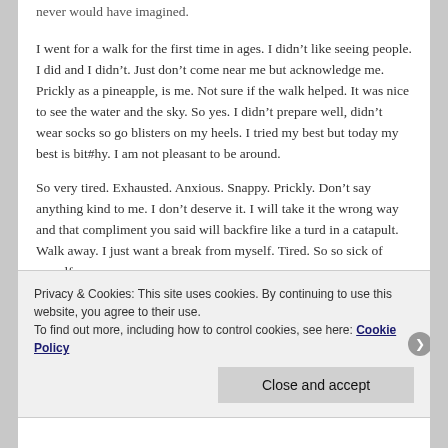never would have imagined.
I went for a walk for the first time in ages. I didn’t like seeing people. I did and I didn’t. Just don’t come near me but acknowledge me. Prickly as a pineapple, is me. Not sure if the walk helped. It was nice to see the water and the sky. So yes. I didn’t prepare well, didn’t wear socks so go blisters on my heels. I tried my best but today my best is bit#hy. I am not pleasant to be around.
So very tired. Exhausted. Anxious. Snappy. Prickly. Don’t say anything kind to me. I don’t deserve it. I will take it the wrong way and that compliment you said will backfire like a turd in a catapult. Walk away. I just want a break from myself. Tired. So so sick of myself.
Privacy & Cookies: This site uses cookies. By continuing to use this website, you agree to their use.
To find out more, including how to control cookies, see here: Cookie Policy
Close and accept